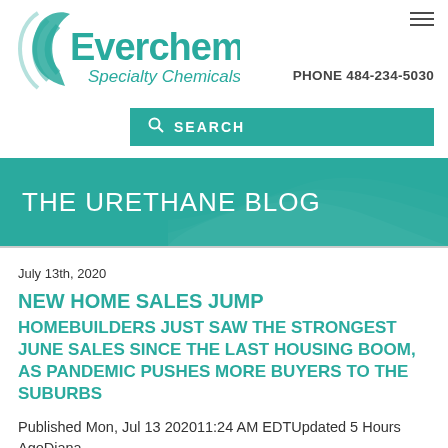[Figure (logo): Everchem Specialty Chemicals logo with teal circular wave graphic]
PHONE 484-234-5030
SEARCH
THE URETHANE BLOG
July 13th, 2020
NEW HOME SALES JUMP
HOMEBUILDERS JUST SAW THE STRONGEST JUNE SALES SINCE THE LAST HOUSING BOOM, AS PANDEMIC PUSHES MORE BUYERS TO THE SUBURBS
Published Mon, Jul 13 202011:24 AM EDTUpdated 5 Hours AgoDiana